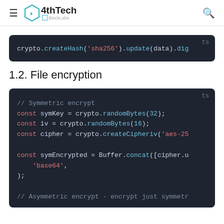4thTech BlockLabs
[Figure (screenshot): Code block showing: crypto.createHash('sha256').update(data).dig — TypeScript code snippet on dark background]
1.2. File encryption
[Figure (screenshot): TypeScript code block showing symmetric/asymmetric file encryption using crypto.randomBytes, createCipheriv, Buffer.concat on dark background]